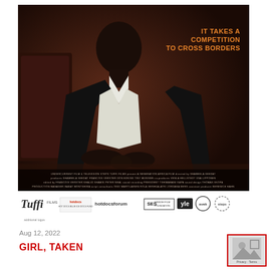[Figure (photo): Movie poster for 'Girl, Taken' — a young Black woman in a dark suit with white shirt sits looking intensely at the camera against a dark reddish-brown background. Text reads 'IT TAKES A COMPETITION TO CROSS BORDERS' in orange. Production credits appear at the bottom of the poster.]
[Figure (logo): Row of sponsor/partner logos including Tuffi Films, HotDocs, HotDocs Forum, SES Finnish Film Foundation, yle, avek, steps]
Aug 12, 2022
GIRL, TAKEN